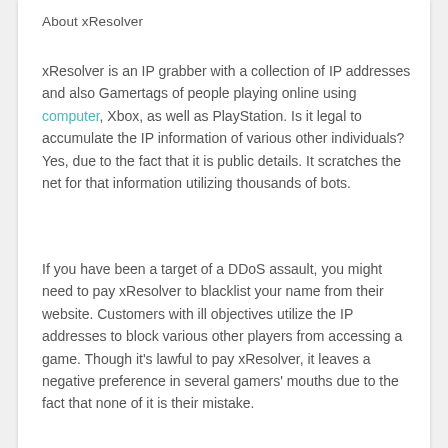About xResolver
xResolver is an IP grabber with a collection of IP addresses and also Gamertags of people playing online using computer, Xbox, as well as PlayStation. Is it legal to accumulate the IP information of various other individuals? Yes, due to the fact that it is public details. It scratches the net for that information utilizing thousands of bots.
If you have been a target of a DDoS assault, you might need to pay xResolver to blacklist your name from their website. Customers with ill objectives utilize the IP addresses to block various other players from accessing a game. Though it's lawful to pay xResolver, it leaves a negative preference in several gamers' mouths due to the fact that none of it is their mistake.